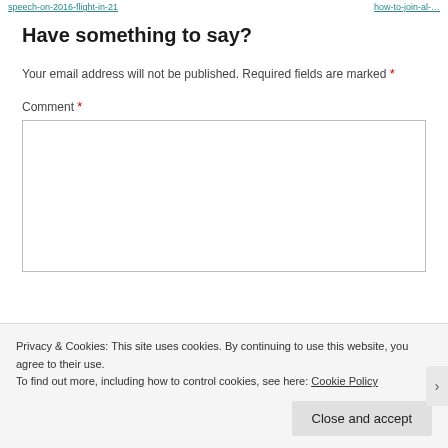speech-on-2016-flight-in-21   |   how-to-join-al-...
Have something to say?
Your email address will not be published. Required fields are marked *
Comment *
Privacy & Cookies: This site uses cookies. By continuing to use this website, you agree to their use.
To find out more, including how to control cookies, see here: Cookie Policy
Close and accept